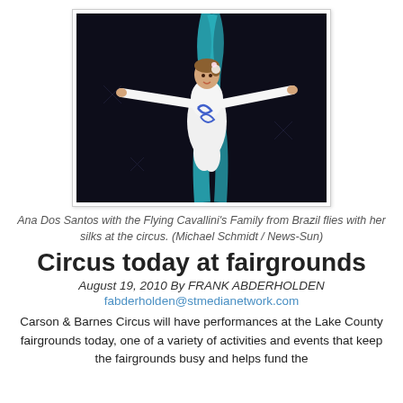[Figure (photo): Aerial silks performer in white costume with blue decorative accents, arms outstretched, performing at circus against dark background]
Ana Dos Santos with the Flying Cavallini's Family from Brazil flies with her silks at the circus. (Michael Schmidt / News-Sun)
Circus today at fairgrounds
August 19, 2010 By FRANK ABDERHOLDEN
fabderholden@stmedianetwork.com
Carson & Barnes Circus will have performances at the Lake County fairgrounds today, one of a variety of activities and events that keep the fairgrounds busy and helps fund the